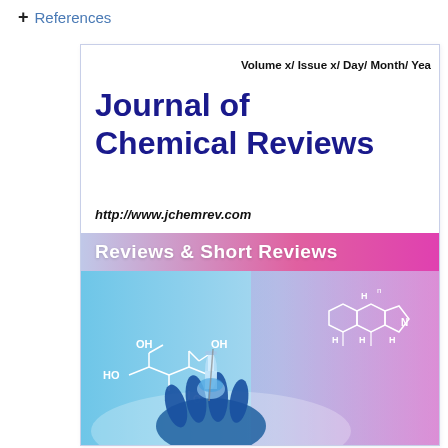+ References
Volume x/ Issue x/ Day/ Month/ Year
Journal of Chemical Reviews
http://www.jchemrev.com
Reviews  & Short Reviews
[Figure (illustration): Cover image of Journal of Chemical Reviews showing a gloved hand holding a laboratory flask/test tube against a blue background with overlaid chemical structure diagrams (molecular structures with OH, HO groups on left; steroid-like ring structure with H, N labels on right).]